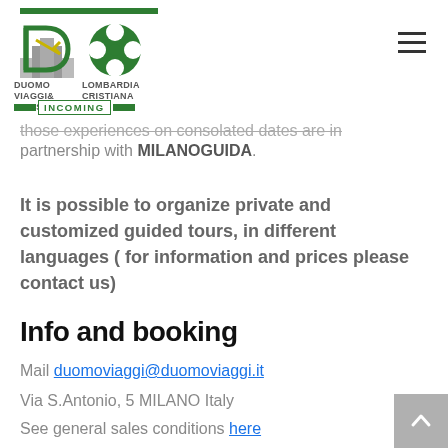[Figure (logo): Duomo Viaggi & Turismo and Lombardia Cristiana Incoming logos with green bar and hamburger menu icon]
those experiences on consolated dates are in partnership with MILANOGUIDA.
It is possible to organize private and customized guided tours, in different languages ( for information and prices please contact us)
Info and booking
Mail duomoviaggi@duomoviaggi.it
Via S.Antonio, 5 MILANO Italy
See general sales conditions here